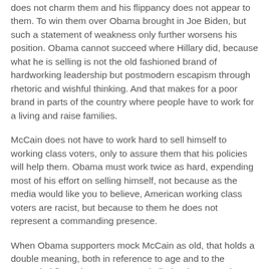does not charm them and his flippancy does not appear to them. To win them over Obama brought in Joe Biden, but such a statement of weakness only further worsens his position. Obama cannot succeed where Hillary did, because what he is selling is not the old fashioned brand of hardworking leadership but postmodern escapism through rhetoric and wishful thinking. And that makes for a poor brand in parts of the country where people have to work for a living and raise families.
McCain does not have to work hard to sell himself to working class voters, only to assure them that his policies will help them. Obama must work twice as hard, expending most of his effort on selling himself, not because as the media would like you to believe, American working class voters are racist, but because to them he does not represent a commanding presence.
When Obama supporters mock McCain as old, that holds a double meaning, both in reference to age and to the outmoded figure he represents. Similarly when McCain supporters ridicule Obama's flippancy, arrogance and drama queen poses, they are knowingly or unknowingly ridiculing